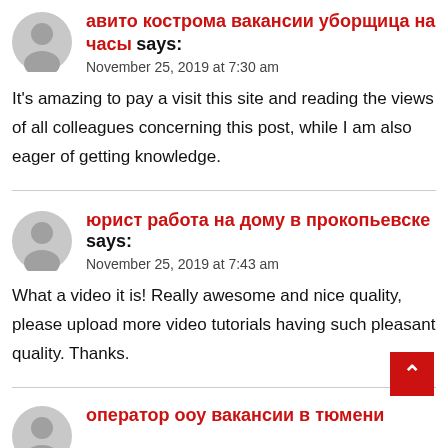авито кострома вакансии уборщица на часы says:
November 25, 2019 at 7:30 am
It's amazing to pay a visit this site and reading the views of all colleagues concerning this post, while I am also eager of getting knowledge.
юрист работа на дому в прокопьевске says:
November 25, 2019 at 7:43 am
What a video it is! Really awesome and nice quality, please upload more video tutorials having such pleasant quality. Thanks.
оператор ооу вакансии в тюмени